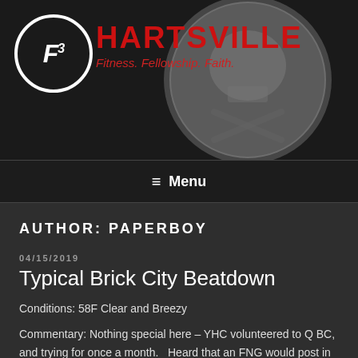[Figure (logo): F3 Hartsville website header banner with F3 circle logo on left, skull and crossbones circular emblem on right, red HARTSVILLE title text, and red subtitle 'Fitness. Fellowship. Faith.']
≡ Menu
AUTHOR: PAPERBOY
04/15/2019
Typical Brick City Beatdown
Conditions:  58F Clear and Breezy
Commentary: Nothing special here – YHC volunteered to Q BC, and trying for once a month.   Heard that an FNG would post in the gloom this morning – but no joy.